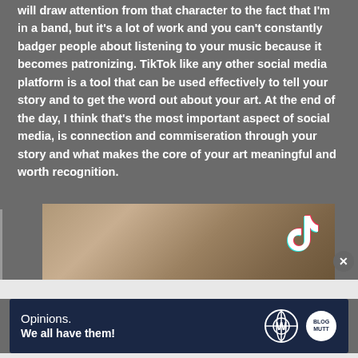will draw attention from that character to the fact that I'm in a band, but it's a lot of work and you can't constantly badger people about listening to your music because it becomes patronizing. TikTok like any other social media platform is a tool that can be used effectively to tell your story and to get the word out about your art. At the end of the day, I think that's the most important aspect of social media, is connection and commiseration through your story and what makes the core of your art meaningful and worth recognition.
[Figure (photo): Partially visible image with warm brown/tan tones, likely a surface or object, with a TikTok logo visible in the upper right corner. A circular close (X) button appears to the right.]
Advertisements
[Figure (screenshot): Advertisement banner with dark navy background. Text reads 'Opinions. We all have them!' with WordPress logo and another circular logo on the right.]